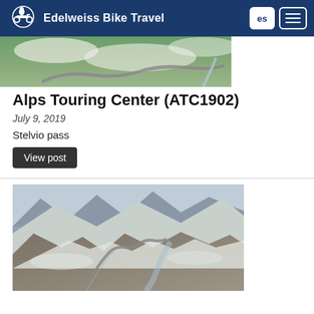Edelweiss Bike Travel
[Figure (photo): Aerial view of winding mountain road with snow patches and green meadows — Stelvio pass area]
Alps Touring Center (ATC1902)
July 9, 2019
Stelvio pass
View post
[Figure (photo): Snow-covered mountain landscape with a winding road visible through the alpine terrain]